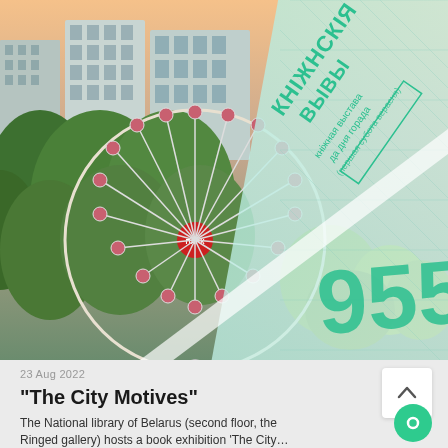[Figure (photo): Aerial photo of a Ferris wheel surrounded by trees and city buildings in the background. Overlaid with a light teal/green decorative graphic design element showing Cyrillic text (book exhibition, Day of the City) and the number '955' in large stylized green numerals, along with a city map background graphic.]
23 Aug 2022
“The City Motives”
The National library of Belarus (second floor, the Ringed gallery) hosts a book exhibition ‘The City…